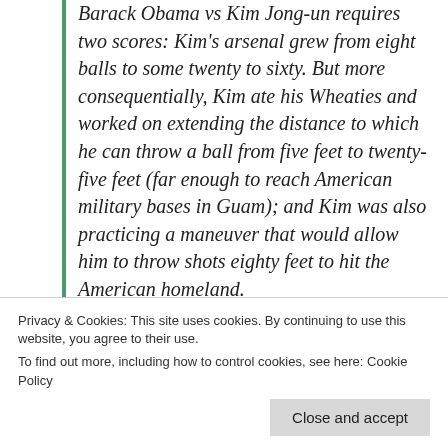Barack Obama vs Kim Jong-un requires two scores: Kim's arsenal grew from eight balls to some twenty to sixty. But more consequentially, Kim ate his Wheaties and worked on extending the distance to which he can throw a ball from five feet to twenty-five feet (far enough to reach American military bases in Guam); and Kim was also practicing a maneuver that would allow him to throw shots eighty feet to hit the American homeland.

-Under Trump, Kim increased and improved his arsenal of shots, including material for making
Privacy & Cookies: This site uses cookies. By continuing to use this website, you agree to their use.
To find out more, including how to control cookies, see here: Cookie Policy
Close and accept
otherwise have proven beyond doubt he could